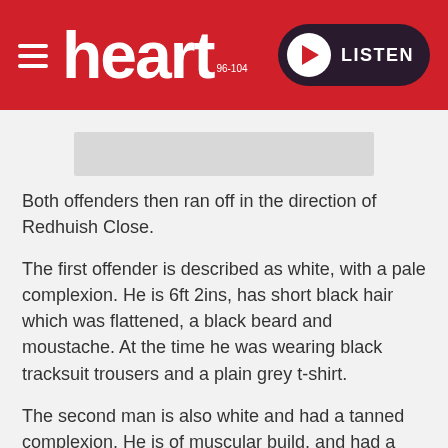heart 96-104 | LISTEN
[Figure (other): Grey placeholder image bar]
Both offenders then ran off in the direction of Redhuish Close.
The first offender is described as white, with a pale complexion. He is 6ft 2ins, has short black hair which was flattened, a black beard and moustache. At the time he was wearing black tracksuit trousers and a plain grey t-shirt.
The second man is also white and had a tanned complexion. He is of muscular build, and had a bald head. He was wearing a grey v-neck vest top, white shorts and off-white espadrilles.